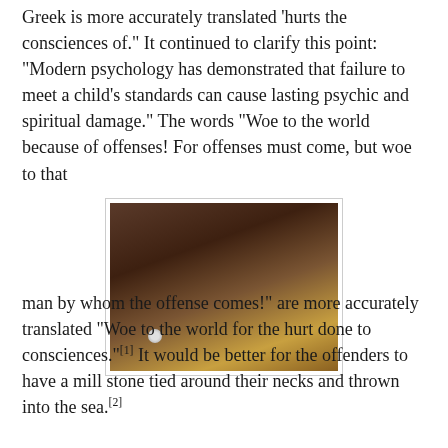Greek is more accurately translated 'hurts the consciences of.' It continued to clarify this point: "Modern psychology has demonstrated that failure to meet a child's standards can cause lasting psychic and spiritual damage." The words "Woe to the world because of offenses! For offenses must come, but woe to that
[Figure (photo): Close-up photograph of a young African boy looking directly at the camera with a serious expression, with a blurred yellow background.]
man by whom the offense comes!" are more accurately translated "Woe to the world for the hurt done to consciences."[1] It would be better for the offenders to have a mill stone tied around their necks and thrown into the sea.[2]